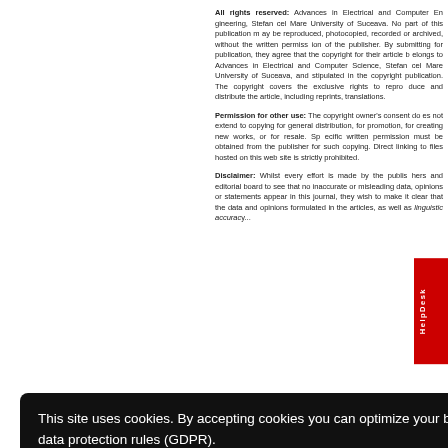All rights reserved: Advances in Electrical and Computer Engineering, Stefan cel Mare University of Suceava. No part of this publication may be reproduced, photocopied, recorded or archived, without the written permission of the publisher. By submitting for publication, they agree that the copyright for their article belongs to Advances in Electrical and Computer Science, Stefan cel Mare University of Suceava, and stipulated in the copyright publication. The copyright covers the exclusive rights to reproduce and distribute the article, including reprints, translations.
Permission for other use: The copyright owner's consent does not extend to copying for general distribution, for promotion, for creating new works, or for resale. Specific written permission must be obtained from the publisher for such copying. Direct linking to files hosted on this website is strictly prohibited.
Disclaimer: Whilst every effort is made by the publishers and editorial board to see that no inaccurate or misleading data, opinions or statements appear in this journal, they wish to make it clear that the data and opinions appearing and formulated in the articles, as well as linguistic accuracy of the articles are the sole responsibility of the authors.
This site uses cookies. By accepting cookies you can optimize your browsing experience. We comply with EU data protection rules (GDPR). Learn more
Got it!
Website loading speed and performance optimization powered by PageSpeed